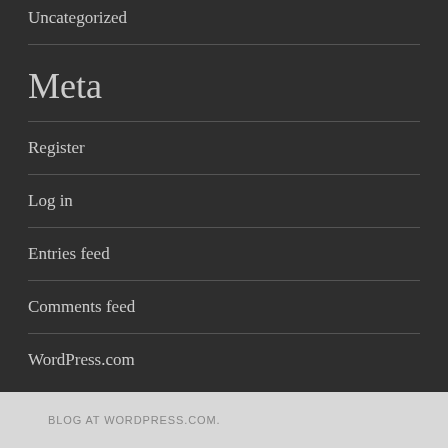Uncategorized
Meta
Register
Log in
Entries feed
Comments feed
WordPress.com
BLOG AT WORDPRESS.COM.